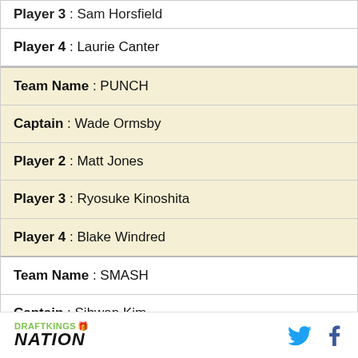Player 3 : Sam Horsfield
Player 4 : Laurie Canter
Team Name : PUNCH
Captain : Wade Ormsby
Player 2 : Matt Jones
Player 3 : Ryosuke Kinoshita
Player 4 : Blake Windred
Team Name : SMASH
Captain : Sihwan Kim
Player 2 : Scott Vincent
DRAFTKINGS NATION